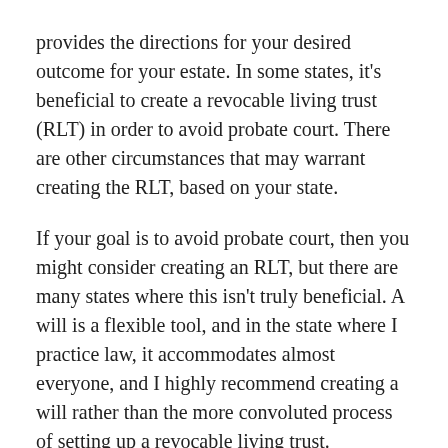provides the directions for your desired outcome for your estate. In some states, it's beneficial to create a revocable living trust (RLT) in order to avoid probate court. There are other circumstances that may warrant creating the RLT, based on your state.
If your goal is to avoid probate court, then you might consider creating an RLT, but there are many states where this isn't truly beneficial. A will is a flexible tool, and in the state where I practice law, it accommodates almost everyone, and I highly recommend creating a will rather than the more convoluted process of setting up a revocable living trust.
When it comes to choosing a Personal Representative, you should consider many factors: does this person